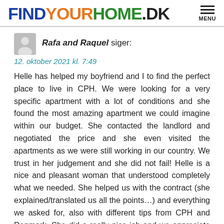FINDYOURHOME.DK
Rafa and Raquel siger:
12. oktober 2021 kl. 7:49
Helle has helped my boyfriend and I to find the perfect place to live in CPH. We were looking for a very specific apartment with a lot of conditions and she found the most amazing apartment we could imagine within our budget. She contacted the landlord and negotiated the price and she even visited the apartments as we were still working in our country. We trust in her judgement and she did not fail! Helle is a nice and pleasant woman that understood completely what we needed. She helped us with the contract (she explained/translated us all the points…) and everything we asked for, also with different tips from CPH and Denmark. She did a really nice job and we appreciate it. With her help everything has been much easier and avoided a lot of headaches. We would take the same